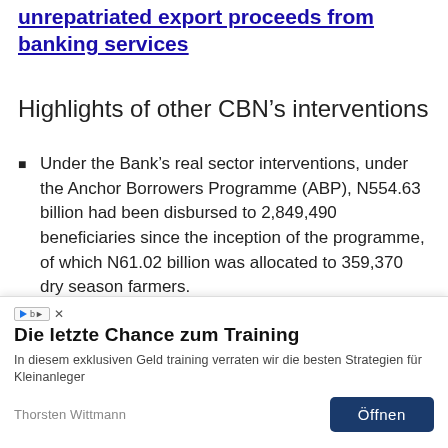unrepatriated export proceeds from banking services
Highlights of other CBN’s interventions
Under the Bank’s real sector interventions, under the Anchor Borrowers Programme (ABP), N554.63 billion had been disbursed to 2,849,490 beneficiaries since the inception of the programme, of which N61.02 billion was allocated to 359,370 dry season farmers.
In light of the on-going synchronized efforts by the monetary and fiscal authorities to mitigate the impact of the COVID-19 pandemic, the
[Figure (other): Advertisement overlay: 'Die letzte Chance zum Training' by Thorsten Wittmann, with an Öffnen button and AdChoices badge. German-language financial training ad.]